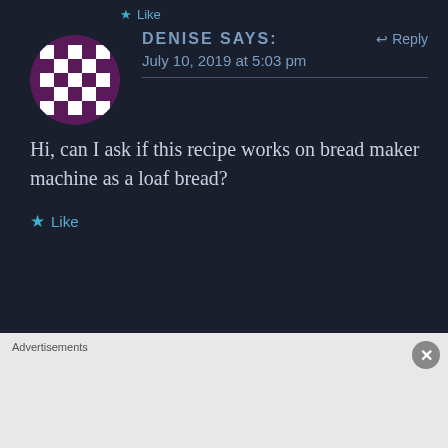★ Like
DENISE says:   ← Reply
July 10, 2019 at 5:03 pm
Hi, can I ask if this recipe works on bread maker machine as a loaf bread?
★ Like
LIM says:   ← Reply
Advertisements